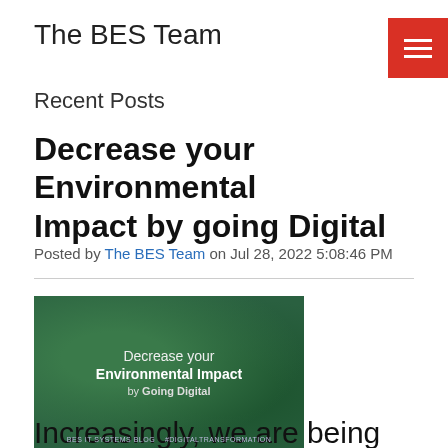The BES Team
Recent Posts
Decrease your Environmental Impact by going Digital
Posted by The BES Team on Jul 28, 2022 5:08:46 PM
[Figure (illustration): Green leafy background image with white text: 'Decrease your Environmental Impact by Going Digital', subtitled 'BES IT SYSTEMS BLOG  #DIGITALTRANSFORMATION']
Increasingly, we are being made